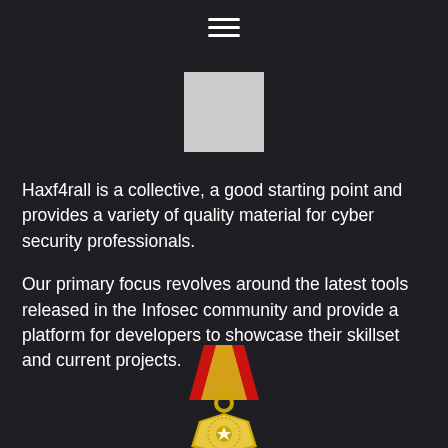[Figure (other): Hamburger menu icon - three horizontal white lines]
[Figure (other): Light gray square logo placeholder]
Haxf4rall is a collective, a good starting point and provides a variety of quality material for cyber security professionals.
Our primary focus revolves around the latest tools released in the Infosec community and provide a platform for developers to showcase their skillset and current projects.
[Figure (illustration): A gold medal with a red and gold ribbon/lanyard at the top, partially visible at the bottom of the page]